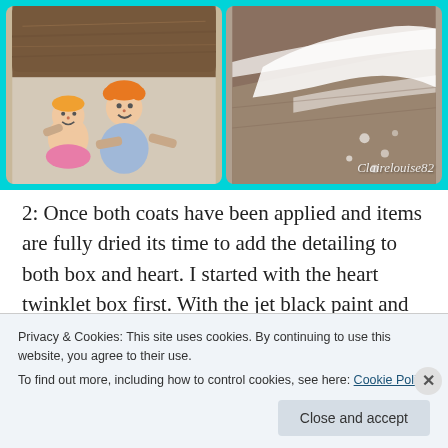[Figure (photo): Two side-by-side photos with a teal/cyan border. Left photo shows cartoon-style illustrated children characters visible under a wooden piece, with colorful hair and clothing. Right photo shows a close-up of white paint being applied to a cardboard/wood surface. Watermark text 'Clairelouise82' visible on right photo.]
2: Once both coats have been applied and items are fully dried its time to add the detailing to both box and heart. I started with the heart twinklet box first. With the jet black paint and small paint brush I applied black paint to the
Privacy & Cookies: This site uses cookies. By continuing to use this website, you agree to their use.
To find out more, including how to control cookies, see here: Cookie Policy
Close and accept